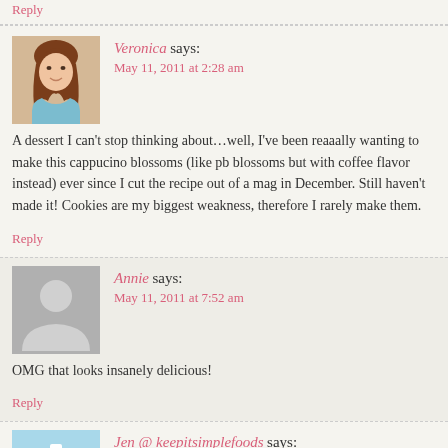Reply
Veronica says: May 11, 2011 at 2:28 am
A dessert I can't stop thinking about…well, I've been reaaally wanting to make this cappucino blossoms (like pb blossoms but with coffee flavor instead) ever since I cut the recipe out of a mag in December. Still haven't made it! Cookies are my biggest weakness, therefore I rarely make them.
Reply
Annie says: May 11, 2011 at 7:52 am
OMG that looks insanely delicious!
Reply
Jen @ keepitsimplefoods says: May 11, 2011 at 8:06 am
My fiance would go crazy for this! Yum!
Reply